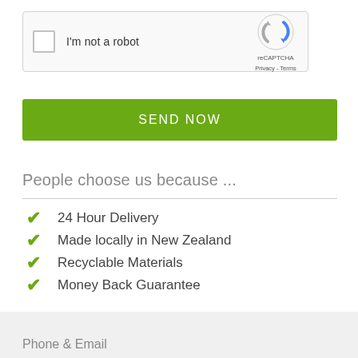[Figure (screenshot): reCAPTCHA widget with checkbox labeled 'I'm not a robot', reCAPTCHA logo, Privacy and Terms links]
SEND NOW
People choose us because ...
24 Hour Delivery
Made locally in New Zealand
Recyclable Materials
Money Back Guarantee
Phone & Email